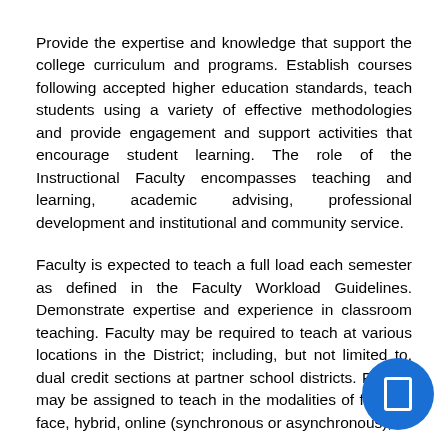Provide the expertise and knowledge that support the college curriculum and programs. Establish courses following accepted higher education standards, teach students using a variety of effective methodologies and provide engagement and support activities that encourage student learning. The role of the Instructional Faculty encompasses teaching and learning, academic advising, professional development and institutional and community service.
Faculty is expected to teach a full load each semester as defined in the Faculty Workload Guidelines. Demonstrate expertise and experience in classroom teaching. Faculty may be required to teach at various locations in the District; including, but not limited to, dual credit sections at partner school districts. Faculty may be assigned to teach in the modalities of face-to-face, hybrid, online (synchronous or asynchronous),